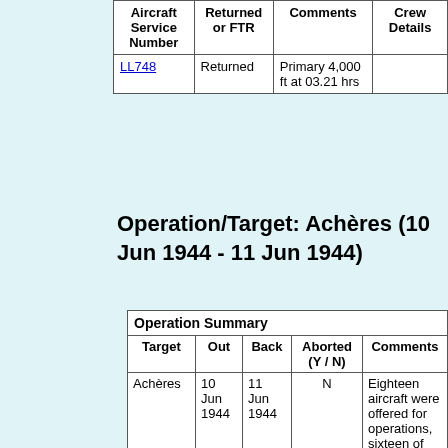| Aircraft Service Number | Returned or FTR | Comments | Crew Details |
| --- | --- | --- | --- |
| LL748 | Returned | Primary 4,000 ft at 03.21 hrs |  |
Operation/Target: Achères (10 Jun 1944 - 11 Jun 1944)
| Operation Summary |
| --- |
| Target | Out | Back | Aborted (Y / N) | Comments |
| Achères | 10 Jun 1944 | 11 Jun 1944 | N | Eighteen aircraft were offered for operations, sixteen of which were accepted and briefed to attack the railway station at ACHÈRES, on the main Paris-Rouen line. The aircraft took off in the usual Squadron style and successfully completed their missions, claiming to have bombed the target |